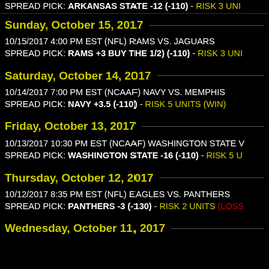SPREAD PICK: ARKANSAS STATE -12 (-110) - RISK 3 UNITS
Sunday, October 15, 2017
10/15/2017 4:00 PM EST (NFL) RAMS VS. JAGUARS
SPREAD PICK: RAMS +3 BUY THE 1/2) (-110) - RISK 3 UNITS
Saturday, October 14, 2017
10/14/2017 7:00 PM EST (NCAAF) NAVY VS. MEMPHIS
SPREAD PICK: NAVY +3.5 (-110) - RISK 5 UNITS (WIN)
Friday, October 13, 2017
10/13/2017 10:30 PM EST (NCAAF) WASHINGTON STATE V
SPREAD PICK: WASHINGTON STATE -16 (-110) - RISK 5 U
Thursday, October 12, 2017
10/12/2017 8:35 PM EST (NFL) EAGLES VS. PANTHERS
SPREAD PICK: PANTHERS -3 (-130) - RISK 2 UNITS (LOSS)
Wednesday, October 11, 2017